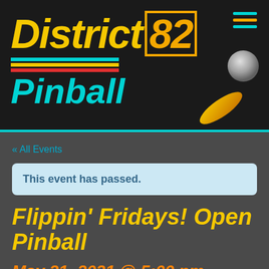[Figure (logo): District 82 Pinball logo with yellow stylized 'District' text, orange outlined '82', cyan 'Pinball' text, colored horizontal stripes, and a pinball flipper with ball graphic on black background]
« All Events
This event has passed.
Flippin' Fridays! Open Pinball
May 21, 2021 @ 5:00 pm - 10:00 pm
$25